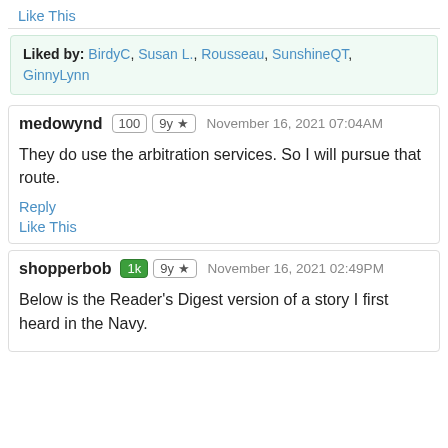Like This
Liked by: BirdyC, Susan L., Rousseau, SunshineQT, GinnyLynn
medowynd  100  9y ★  November 16, 2021 07:04AM
They do use the arbitration services. So I will pursue that route.
Reply
Like This
shopperbob  1k  9y ★  November 16, 2021 02:49PM
Below is the Reader's Digest version of a story I first heard in the Navy.